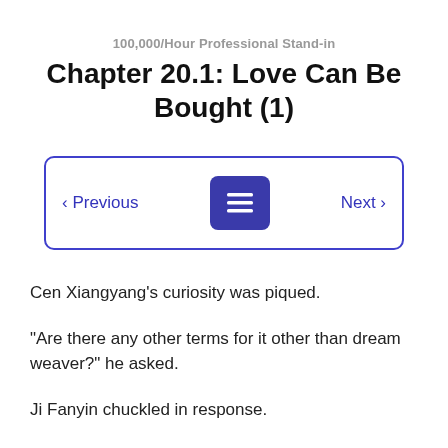100,000/Hour Professional Stand-in
Chapter 20.1: Love Can Be Bought (1)
‹ Previous   [menu]   Next ›
Cen Xiangyang’s curiosity was piqued.
“Are there any other terms for it other than dream weaver?” he asked.
Ji Fanyin chuckled in response.